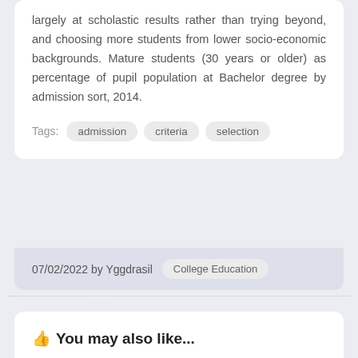largely at scholastic results rather than trying beyond, and choosing more students from lower socio-economic backgrounds. Mature students (30 years or older) as percentage of pupil population at Bachelor degree by admission sort, 2014.
Tags: admission  criteria  selection
07/02/2022 by Yggdrasil  College Education
You may also like...
About the Civic Education Project
Maine DOE Newsroom